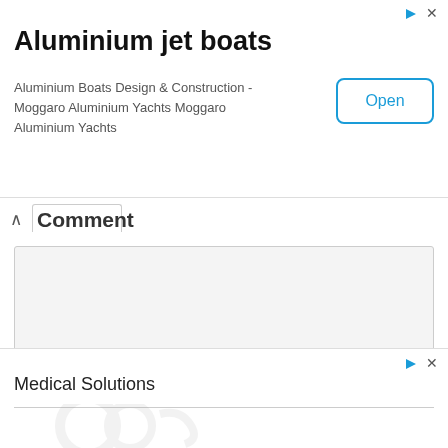[Figure (screenshot): Advertisement banner for Aluminium jet boats with an Open button]
Aluminium jet boats
Aluminium Boats Design & Construction - Moggaro Aluminium Yachts Moggaro Aluminium Yachts
Comment
[Figure (screenshot): Empty comment text area input box]
POST COMMENT
[Figure (screenshot): Advertisement banner for Medical Solutions]